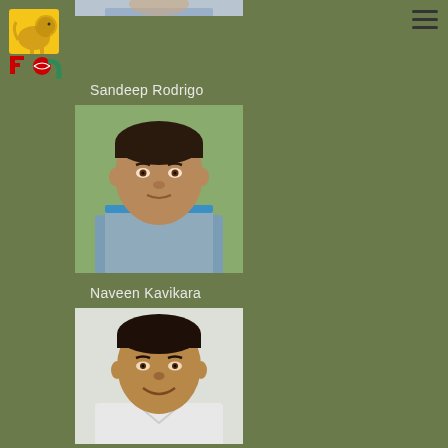[Figure (logo): Sri Lanka Cricket logo - lion with cricket ball]
[Figure (photo): Partial photo of a person visible at the top of the page]
Sandeep Rodrigo
[Figure (photo): Portrait photo of Sandeep Rodrigo, a man wearing a grey and blue shirt]
Naveen Kavikara
[Figure (photo): Portrait photo of Naveen Kavikara, a man smiling wearing a light shirt]